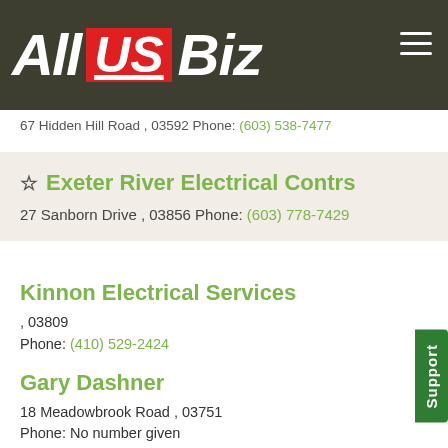All US Biz
67 Hidden Hill Road , 03592 Phone: (603) 538-7477
☆ Exeter River Electrical Contrs
27 Sanborn Drive , 03856 Phone: (603) 778-7429
Kinnon Electrical Services
, 03809
Phone: (410) 529-2424
Gary Dashner
18 Meadowbrook Road , 03751
Phone: No number given
Donovan Electric
7 Bavier St, 03743